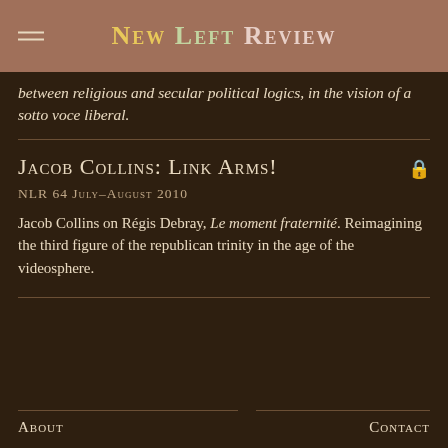New Left Review
between religious and secular political logics, in the vision of a sotto voce liberal.
Jacob Collins: Link Arms!
NLR 64 July–August 2010
Jacob Collins on Régis Debray, Le moment fraternité. Reimagining the third figure of the republican trinity in the age of the videosphere.
ABOUT    CONTACT